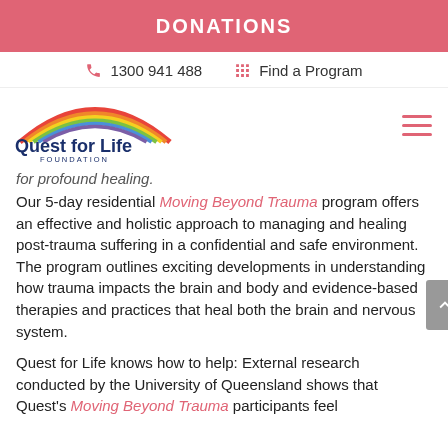DONATIONS
1300 941 488   Find a Program
[Figure (logo): Quest for Life Foundation logo with rainbow arch above stylized text]
for profound healing.
Our 5-day residential Moving Beyond Trauma program offers an effective and holistic approach to managing and healing post-trauma suffering in a confidential and safe environment. The program outlines exciting developments in understanding how trauma impacts the brain and body and evidence-based therapies and practices that heal both the brain and nervous system.
Quest for Life knows how to help: External research conducted by the University of Queensland shows that Quest's Moving Beyond Trauma participants feel